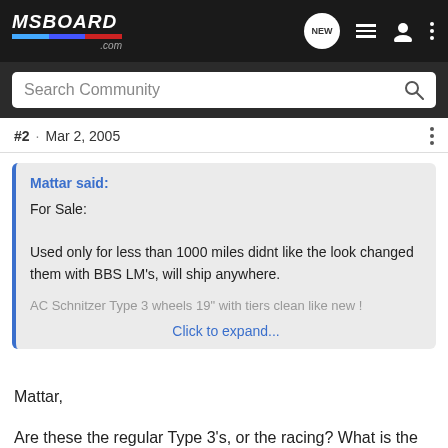MSBOARD.com
Search Community
#2 · Mar 2, 2005
Mattar said:
For Sale:

Used only for less than 1000 miles didnt like the look changed them with BBS LM's, will ship anywhere.

AC Schnitzer Type 3 wheels 19" with tiers clean like new !

Click to expand...
Mattar,

Are these the regular Type 3's, or the racing? What is the finish on the wheel? Are they staggered, and if so, what are the